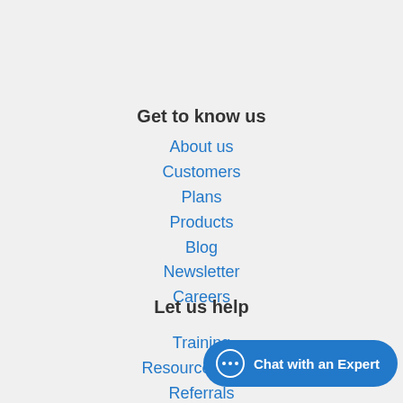Get to know us
About us
Customers
Plans
Products
Blog
Newsletter
Careers
Let us help
Training
Resource Center
Referrals